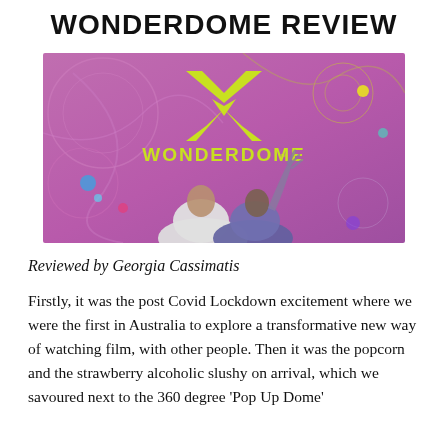WONDERDOME REVIEW
[Figure (photo): Photo showing two people looking up inside the Wonderdome inflatable dome, with a purple/pink psychedelic projection backdrop featuring the Wonderdome logo (yellow-green W shape) and text 'WONDERDOME']
Reviewed by Georgia Cassimatis
Firstly, it was the post Covid Lockdown excitement where we were the first in Australia to explore a transformative new way of watching film, with other people. Then it was the popcorn and the strawberry alcoholic slushy on arrival, which we savoured next to the 360 degree 'Pop Up Dome'